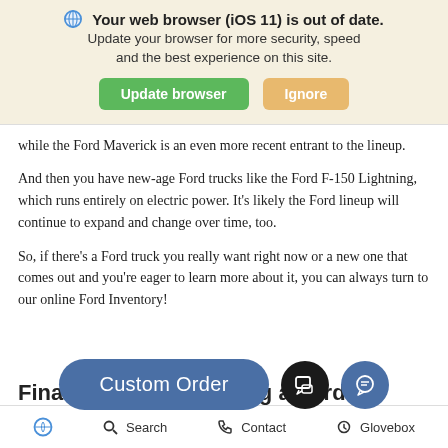[Figure (screenshot): Browser update notification banner with globe icon, bold warning text, subtitle text, and two buttons: green 'Update browser' and orange 'Ignore']
while the Ford Maverick is an even more recent entrant to the lineup.
And then you have new-age Ford trucks like the Ford F-150 Lightning, which runs entirely on electric power. It's likely the Ford lineup will continue to expand and change over time, too.
So, if there's a Ford truck you really want right now or a new one that comes out and you're eager to learn more about it, you can always turn to our online Ford Inventory!
[Figure (screenshot): Custom Order button (blue pill shape) with two circular icon buttons (dark chat icon, blue message icon)]
Financing and Servicing a Ford
Accessibility  Search  Contact  Glovebox